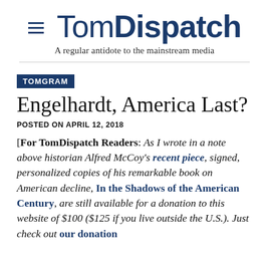Tom Dispatch — A regular antidote to the mainstream media
TOMGRAM
Engelhardt, America Last?
POSTED ON APRIL 12, 2018
[For TomDispatch Readers: As I wrote in a note above historian Alfred McCoy's recent piece, signed, personalized copies of his remarkable book on American decline, In the Shadows of the American Century, are still available for a donation to this website of $100 ($125 if you live outside the U.S.). Just check out our donation